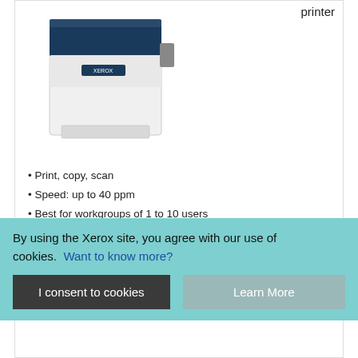[Figure (photo): Xerox printer product photo (white and navy blue laser printer)]
printer
Print, copy, scan
Speed: up to 40 ppm
Best for workgroups of 1 to 10 users
Average monthly use: 6,000 pages
Automatic two-sided printing
Built-in Wi-Fi
4.5 (2)
$469.99
$679.00
By using the Xerox site, you agree with our use of cookies. Want to know more?